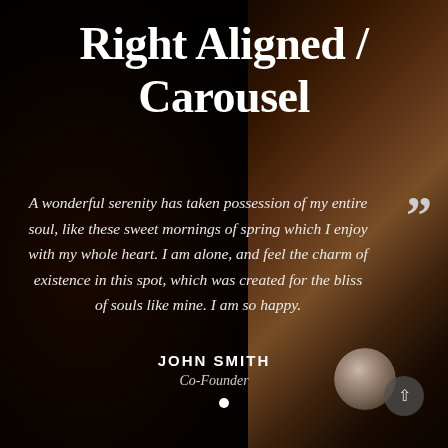Right Aligned / Carousel
A wonderful serenity has taken possession of my entire soul, like these sweet mornings of spring which I enjoy with my whole heart. I am alone, and feel the charm of existence in this spot, which was created for the bliss of souls like mine. I am so happy.
JOHN SMITH
Co-Founder
[Figure (photo): Circular avatar portrait of a young man in a grey hoodie]
[Figure (infographic): Navigation up-arrow button in dark rounded circle]
[Figure (infographic): White dot carousel indicator]